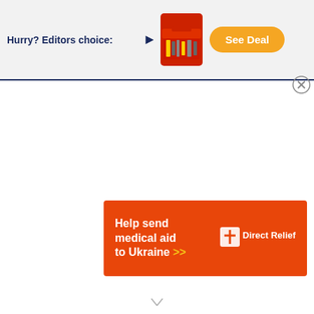[Figure (infographic): Top advertisement banner with text 'Hurry? Editors choice:', an arrow, product image of a red tool kit, and an orange 'See Deal' button]
[Figure (infographic): Bottom orange advertisement banner with text 'Help send medical aid to Ukraine >>' and Direct Relief logo in white]